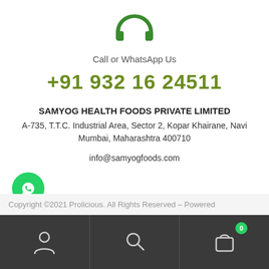[Figure (illustration): Green headphone/support icon]
Call or WhatsApp Us
+91 932 16 24511
SAMYOG HEALTH FOODS PRIVATE LIMITED
A-735, T.T.C. Industrial Area, Sector 2, Kopar Khairane, Navi Mumbai, Maharashtra 400710
info@samyogfoods.com
[Figure (logo): WhatsApp button - green circle with WhatsApp icon]
Copyright ©2021 Prolicious. All Rights Reserved – Powered
[Figure (screenshot): Bottom navigation bar with user, search, and cart icons on dark background]